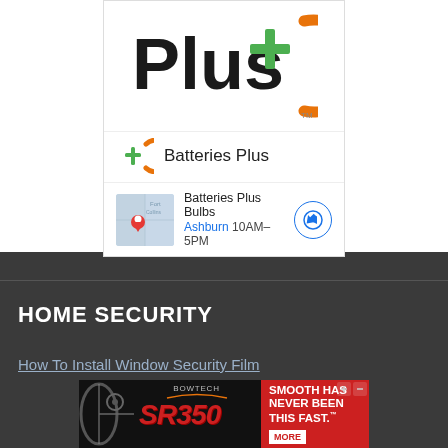[Figure (logo): Batteries Plus logo: large 'Plus+' text with orange arc and green plus symbol, plus smaller brand icon row]
[Figure (infographic): Batteries Plus Bulbs local ad with map thumbnail, location 'Ashburn 10AM-5PM', direction arrow button]
report this ad
HOME SECURITY
How To Install Window Security Film
[Figure (photo): Bowtech SR350 bow advertisement banner with red 'SMOOTH HAS NEVER BEEN THIS FAST.' tagline and MORE button]